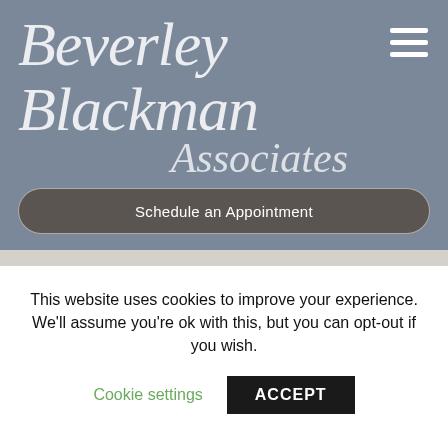[Figure (logo): Beverley Blackman Associates logo in white italic script on slate blue background with hamburger menu icon]
Schedule an Appointment
[Figure (screenshot): Light gray strip dividing sections]
Made with ♥ with SumFactors
[Figure (logo): Partial Beverley Blackman Associates logo visible at bottom of blue section]
This website uses cookies to improve your experience. We'll assume you're ok with this, but you can opt-out if you wish.
Cookie settings
ACCEPT